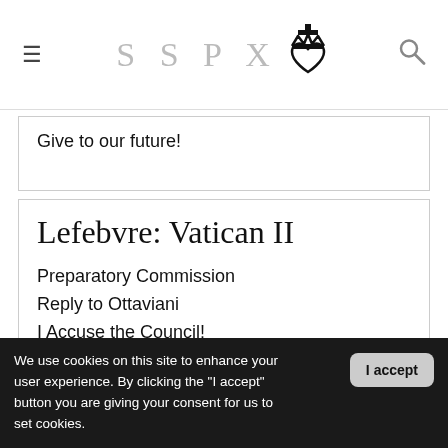SSPX
Give to our future!
Lefebvre: Vatican II
Preparatory Commission
Reply to Ottaviani
I Accuse the Council!
A Bishop Speaks
We use cookies on this site to enhance your user experience. By clicking the "I accept" button you are giving your consent for us to set cookies.